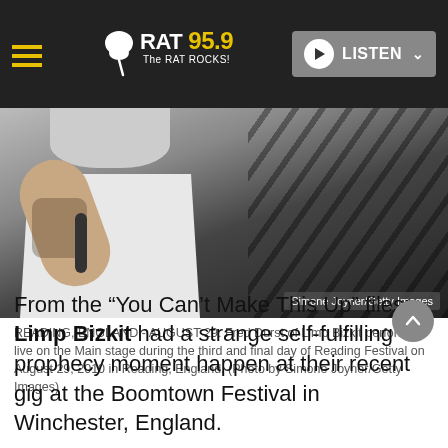RAT 95.9 The RAT ROCKS! — LISTEN
[Figure (photo): Fred Durst of Limp Bizkit performing live on stage, holding a microphone, showing tattooed arm, wearing white shirt. Staircase/rigging visible in background. Photo credit: Simone Joyner/Getty Images]
READING, ENGLAND - AUGUST 29: Fred Durst of Limp Bizkit performs live on the Main stage during the third and final day of Reading Festival on August 29, 2010 in Reading, England. (Photo by Simone Joyner/Getty Images)
From the “You Can’t Make This Up” files:  Limp Bizkit had a strange self-fulfilling prophecy moment happen at their recent gig at the Boomtown Festival in Winchester, England.